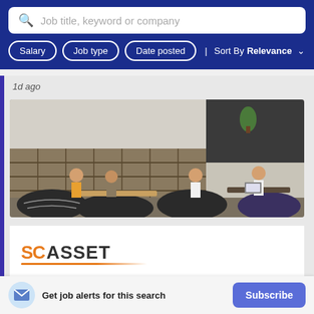Job title, keyword or company | Salary | Job type | Date posted | Sort By Relevance
1d ago
[Figure (photo): Office coworking space with students/workers sitting on bean bags and at tables, with wooden shelving in the background]
[Figure (logo): SC ASSET company logo in orange and dark grey text with orange underline]
Get job alerts for this search
Subscribe